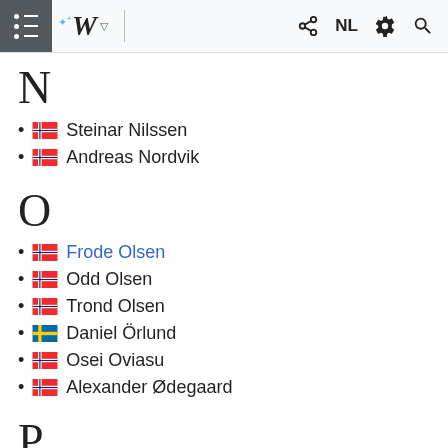Wikipedia mobile navigation bar with NL language indicator
N
Steinar Nilssen
Andreas Nordvik
O
Frode Olsen
Odd Olsen
Trond Olsen
Daniel Örlund
Osei Oviasu
Alexander Ødegaard
P